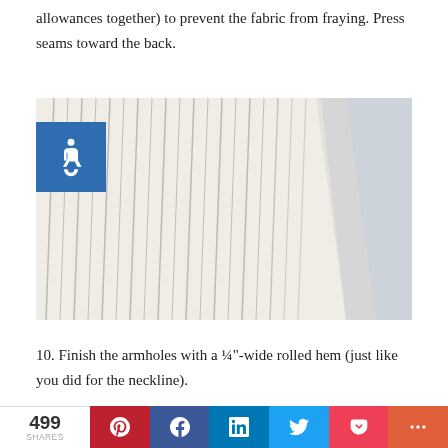allowances together) to prevent the fabric from fraying. Press seams toward the back.
[Figure (photo): Close-up photo of white and grey striped fabric folded, showing seam allowances. An accessibility icon (wheelchair symbol in blue square) overlays the top left corner.]
10. Finish the armholes with a ¼"-wide rolled hem (just like you did for the neckline).
[Figure (photo): Partial view of white striped garment fabric, showing hemmed edge.]
499 SHARES